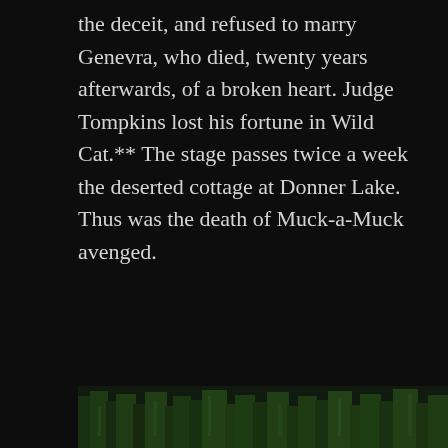the deceit, and refused to marry Genevra, who died, twenty years afterwards, of a broken heart. Judge Tompkins lost his fortune in Wild Cat.** The stage passes twice a week the deserted cottage at Donner Lake. Thus was the death of Muck-a-Muck avenged.
*A length of false hair, worn to cause one's own hair to appear longer or fuller. [ed.]
**Mining speculation. [ed.]
The End
[Figure (illustration): A decorative illustration showing a forest or nature scene with green and dark tones, partially visible at the bottom of the page.]